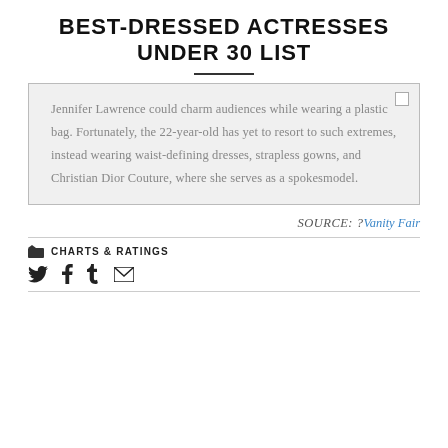BEST-DRESSED ACTRESSES UNDER 30 LIST
Jennifer Lawrence could charm audiences while wearing a plastic bag. Fortunately, the 22-year-old has yet to resort to such extremes, instead wearing waist-defining dresses, strapless gowns, and Christian Dior Couture, where she serves as a spokesmodel.
SOURCE: ? Vanity Fair
CHARTS & RATINGS